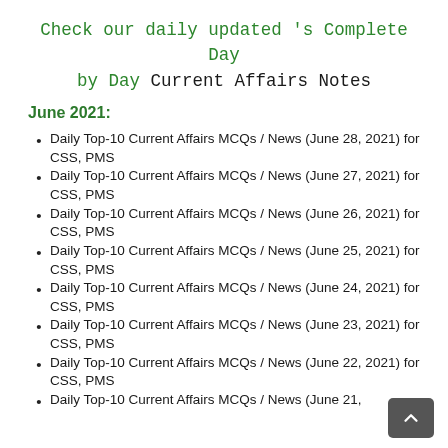Check our daily updated 's Complete Day by Day Current Affairs Notes
June 2021:
Daily Top-10 Current Affairs MCQs / News (June 28, 2021) for CSS, PMS
Daily Top-10 Current Affairs MCQs / News (June 27, 2021) for CSS, PMS
Daily Top-10 Current Affairs MCQs / News (June 26, 2021) for CSS, PMS
Daily Top-10 Current Affairs MCQs / News (June 25, 2021) for CSS, PMS
Daily Top-10 Current Affairs MCQs / News (June 24, 2021) for CSS, PMS
Daily Top-10 Current Affairs MCQs / News (June 23, 2021) for CSS, PMS
Daily Top-10 Current Affairs MCQs / News (June 22, 2021) for CSS, PMS
Daily Top-10 Current Affairs MCQs / News (June 21,